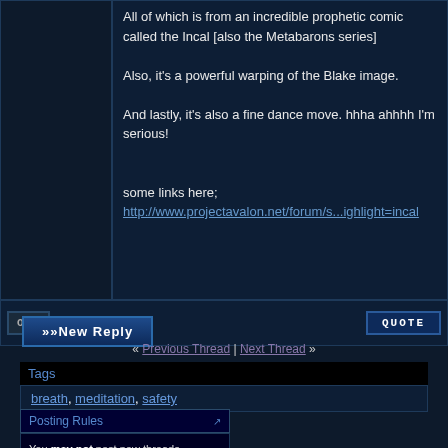All of which is from an incredible prophetic comic called the Incal [also the Metabarons series]

Also, it's a powerful warping of the Blake image.

And lastly, it's also a fine dance move. hhha ahhhh I'm serious!

some links here;
http://www.projectavalon.net/forum/s...ighlight=incal
>>New Reply
Tags
breath, meditation, safety
« Previous Thread | Next Thread »
Posting Rules
You may not post new threads
You may not post replies
You may not post attachments
You may not edit your posts
BB code is On
Smilies are On
[IMG] code is On
HTML code is Off